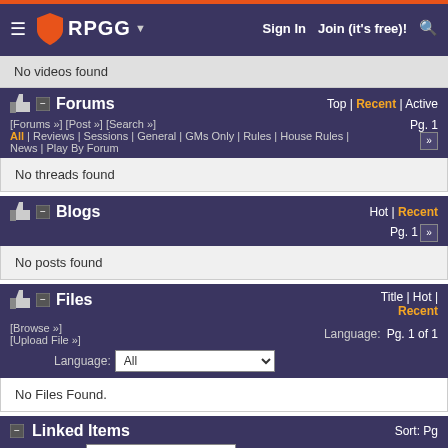RPGG | Sign In | Join (it's free)!
No videos found
Forums — Top | Recent | Active
[Forums »] [Post »] [Search »] All | Reviews | Sessions | General | GMs Only | Rules | House Rules | News | Play By Forum — Pg. 1
No threads found
Blogs — Hot | Recent — Pg. 1
No posts found
Files — Title | Hot | Recent — Pg. 1 of 1
[Browse »] [Upload File »] Language: All
No Files Found.
Linked Items — Sort: Pg — Relationship: Periodical Articles — Pg. 1
No Articles Found